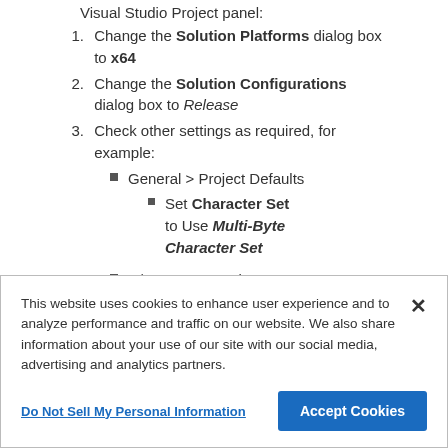Visual Studio Project panel:
Change the Solution Platforms dialog box to x64
Change the Solution Configurations dialog box to Release
Check other settings as required, for example:
General > Project Defaults
Set Character Set to Use Multi-Byte Character Set
C/C++ > General
This website uses cookies to enhance user experience and to analyze performance and traffic on our website. We also share information about your use of our site with our social media, advertising and analytics partners.
Do Not Sell My Personal Information
Accept Cookies